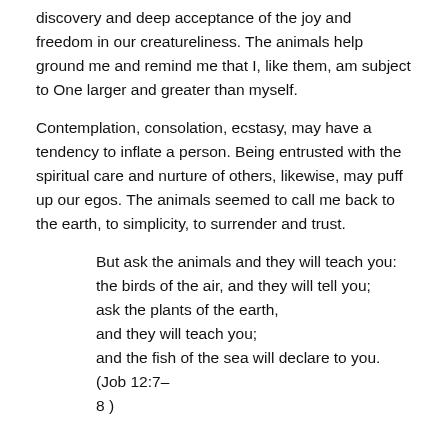discovery and deep acceptance of the joy and freedom in our creatureliness. The animals help ground me and remind me that I, like them, am subject to One larger and greater than myself.
Contemplation, consolation, ecstasy, may have a tendency to inflate a person. Being entrusted with the spiritual care and nurture of others, likewise, may puff up our egos. The animals seemed to call me back to the earth, to simplicity, to surrender and trust.
But ask the animals and they will teach you:
the birds of the air, and they will tell you;
ask the plants of the earth,
and they will teach you;
and the fish of the sea will declare to you.  (Job 12:7–8 )